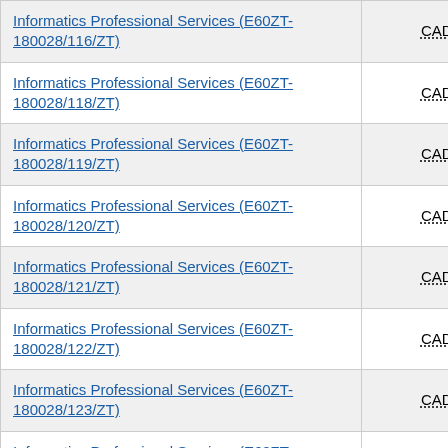| Informatics Professional Services (E60ZT-180028/116/ZT) | CAD 0.00 |
| Informatics Professional Services (E60ZT-180028/118/ZT) | CAD 0.00 |
| Informatics Professional Services (E60ZT-180028/119/ZT) | CAD 0.00 |
| Informatics Professional Services (E60ZT-180028/120/ZT) | CAD 0.00 |
| Informatics Professional Services (E60ZT-180028/121/ZT) | CAD 0.00 |
| Informatics Professional Services (E60ZT-180028/122/ZT) | CAD 0.00 |
| Informatics Professional Services (E60ZT-180028/123/ZT) | CAD 0.00 |
| Informatics Professional Services (E60ZT-180028/124/ZT) | CAD 0.00 |
| Informatics Professional Services (E60ZT-180028/125/ZT) | CAD 0.00 |
| Informatics Professional Services (E60ZT-... | CAD 0.00 |